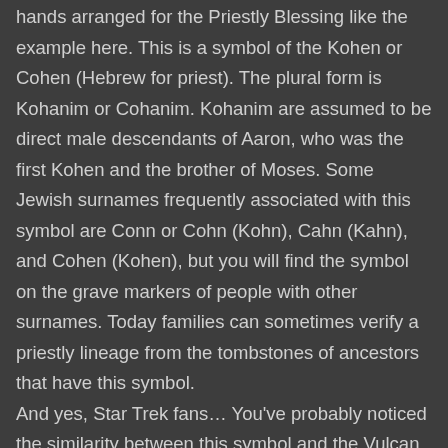hands arranged for the Priestly Blessing like the example here. This is a symbol of the Kohen or Cohen (Hebrew for priest). The plural form is Kohanim or Cohanim. Kohanim are assumed to be direct male descendants of Aaron, who was the first Kohen and the brother of Moses. Some Jewish surnames frequently associated with this symbol are Conn or Cohn (Kohn), Cahn (Kahn), and Cohen (Kohen), but you will find the symbol on the grave markers of people with other surnames. Today families can sometimes verify a priestly lineage from the tombstones of ancestors that have this symbol.
And yes, Star Trek fans… You've probably noticed the similarity between this symbol and the Vulcan hand greeting ("live long and prosper") used in the TV show and movies. This was suggested by actor Leonard Nimoy (Mr. Spock), who saw the Priestly Blessing in a synagogue when he was a child. He modified it as Vulcans use only one hand.